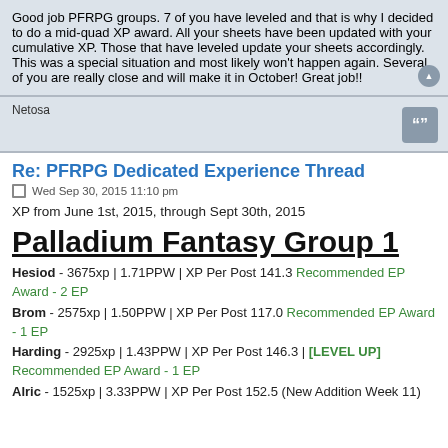Good job PFRPG groups. 7 of you have leveled and that is why I decided to do a mid-quad XP award. All your sheets have been updated with your cumulative XP. Those that have leveled update your sheets accordingly. This was a special situation and most likely won't happen again. Several of you are really close and will make it in October! Great job!!
Netosa
Re: PFRPG Dedicated Experience Thread
Wed Sep 30, 2015 11:10 pm
XP from June 1st, 2015, through Sept 30th, 2015
Palladium Fantasy Group 1
Hesiod - 3675xp | 1.71PPW | XP Per Post 141.3 Recommended EP Award - 2 EP
Brom - 2575xp | 1.50PPW | XP Per Post 117.0 Recommended EP Award - 1 EP
Harding - 2925xp | 1.43PPW | XP Per Post 146.3 | [LEVEL UP] Recommended EP Award - 1 EP
Alric - 1525xp | 3.33PPW | XP Per Post 152.5 (New Addition Week 11)